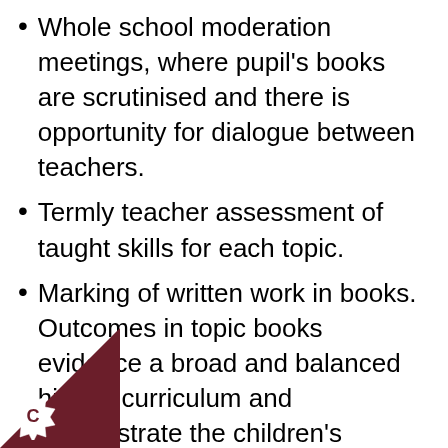Whole school moderation meetings, where pupil's books are scrutinised and there is opportunity for dialogue between teachers.
Termly teacher assessment of taught skills for each topic.
Marking of written work in books. Outcomes in topic books evidence a broad and balanced history curriculum and demonstrate the children's acquisition of identified key knowledge.